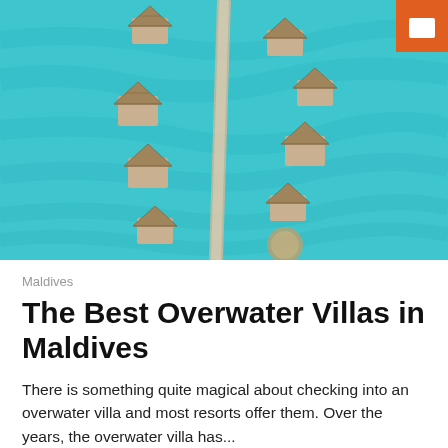[Figure (photo): Aerial view of overwater bungalows in turquoise Maldives lagoon, connected by a walkway, photographed from above. Orange hotel icon badge in top-right corner.]
Maldives
The Best Overwater Villas in Maldives
There is something quite magical about checking into an overwater villa and most resorts offer them. Over the years, the overwater villa has...